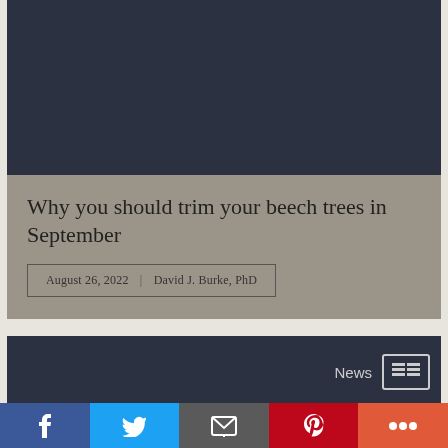[Figure (photo): Dark header image block (dark gray background, possibly a beech tree photo not visible at this resolution)]
Why you should trim your beech trees in September
August 26, 2022  |  David J. Burke, PhD
[Figure (photo): Dark lower image block with News label and newspaper icon in top right]
f  [Twitter bird]  [envelope]  P  +